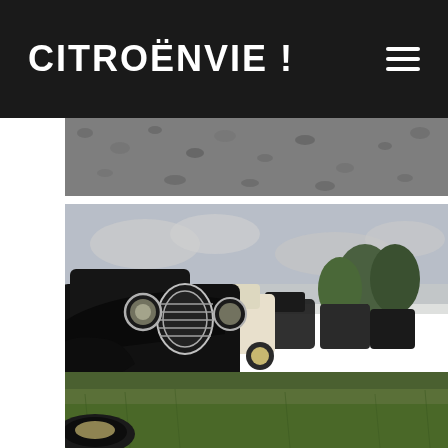CITROËNVIE !
[Figure (photo): Top partial image showing gravel or stone texture background]
[Figure (photo): Row of vintage Citroën Traction Avant classic cars parked on grass at an outdoor car show, photographed in close-up from the front, showing chrome headlights, grilles, and black bodywork. Multiple cars visible receding into background. Green trees and overcast sky visible.]